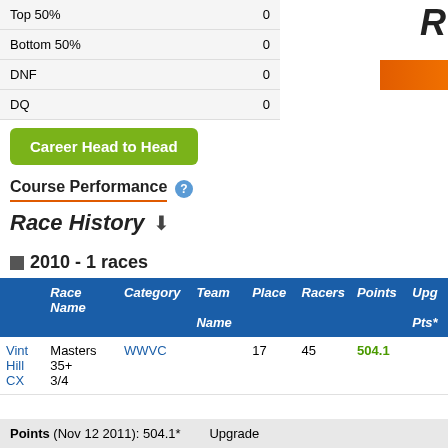|  |  |
| --- | --- |
| Top 50% | 0 |
| Bottom 50% | 0 |
| DNF | 0 |
| DQ | 0 |
Career Head to Head
Course Performance
Race History
2010 - 1 races
|  | Race Name | Category | Team Name | Place | Racers | Points | Upg Pts* |
| --- | --- | --- | --- | --- | --- | --- | --- |
| Vint Hill CX | Masters 35+ 3/4 | WWVC |  | 17 | 45 | 504.1 |  |
Points (Nov 12 2011): 504.1*  Upgrade